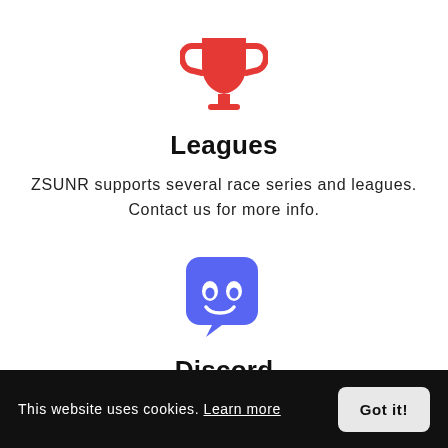[Figure (illustration): Red trophy/cup icon]
Leagues
ZSUNR supports several race series and leagues. Contact us for more info.
[Figure (logo): Discord logo — purple rounded square with white controller/smile icon and speech bubble tail]
Discord
Voice chat with fellow riders.
This website uses cookies. Learn more   Got it!